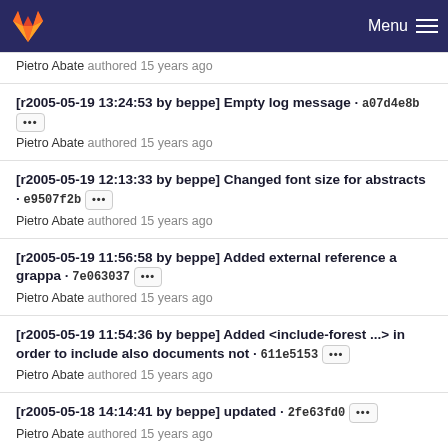Menu
Pietro Abate authored 15 years ago
[r2005-05-19 13:24:53 by beppe] Empty log message · a07d4e8b ··· Pietro Abate authored 15 years ago
[r2005-05-19 12:13:33 by beppe] Changed font size for abstracts · e9507f2b ··· Pietro Abate authored 15 years ago
[r2005-05-19 11:56:58 by beppe] Added external reference a grappa · 7e063037 ··· Pietro Abate authored 15 years ago
[r2005-05-19 11:54:36 by beppe] Added <include-forest ...> in order to include also documents not · 611e5153 ··· Pietro Abate authored 15 years ago
[r2005-05-18 14:14:41 by beppe] updated · 2fe63fd0 ··· Pietro Abate authored 15 years ago